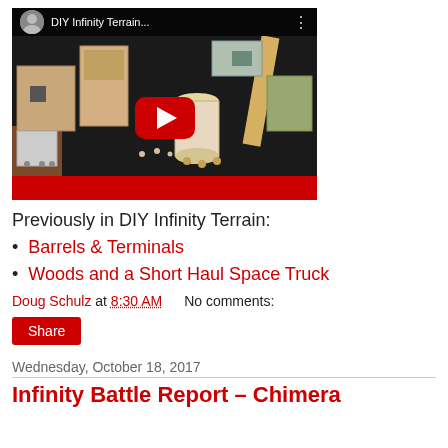[Figure (screenshot): YouTube video thumbnail for 'DIY Infinity Terrain...' showing tabletop terrain pieces on a dark surface, with a red play button in the center and a profile avatar in top bar.]
Previously in DIY Infinity Terrain:
Barrels & Terminals
Woods and a Short Haul Space Truck
Doug Schulz at 8:30 AM    No comments:
Share
Wednesday, October 18, 2017
Infinity Battle Report – Chimera